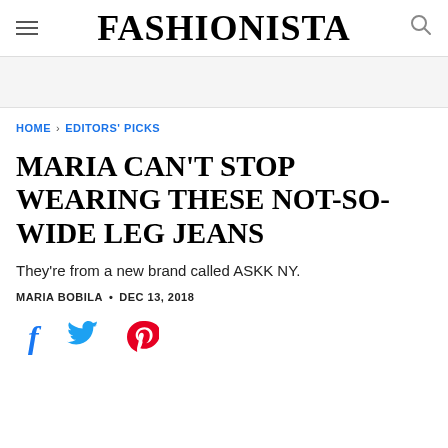FASHIONISTA
HOME › EDITORS' PICKS
MARIA CAN'T STOP WEARING THESE NOT-SO-WIDE LEG JEANS
They're from a new brand called ASKK NY.
MARIA BOBILA · DEC 13, 2018
[Figure (infographic): Social sharing icons: Facebook (f), Twitter (bird), Pinterest (P) in blue, blue, and red colors respectively]